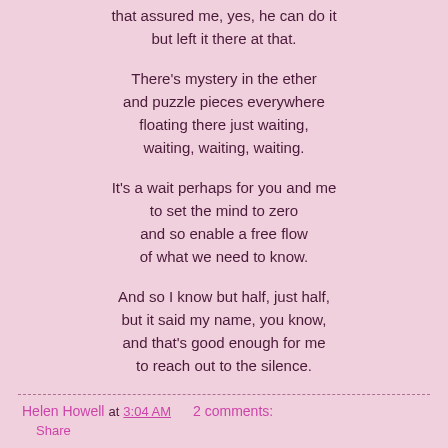that assured me, yes, he can do it
but left it there at that.
There's mystery in the ether
and puzzle pieces everywhere
floating there just waiting,
waiting, waiting, waiting.
It's a wait perhaps for you and me
to set the mind to zero
and so enable a free flow
of what we need to know.
And so I know but half, just half,
but it said my name, you know,
and that's good enough for me
to reach out to the silence.
Helen Howell at 3:04 AM  2 comments:
Share